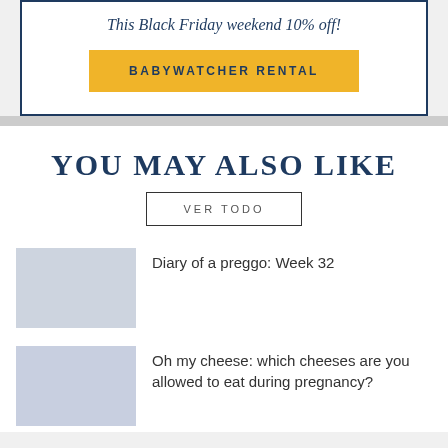This Black Friday weekend 10% off!
BABYWATCHER RENTAL
YOU MAY ALSO LIKE
VER TODO
Diary of a preggo: Week 32
Oh my cheese: which cheeses are you allowed to eat during pregnancy?